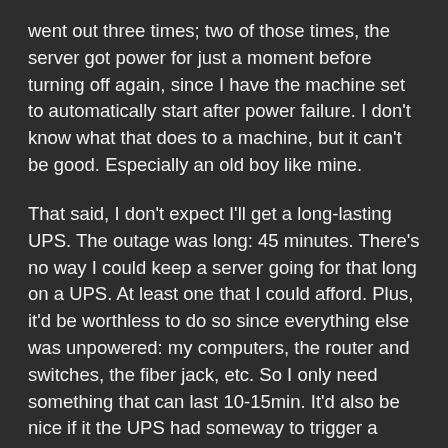went out three times; two of those times, the server got power for just a moment before turning off again, since I have the machine set to automatically start after power failure. I don't know what that does to a machine, but it can't be good. Especially an old boy like mine.
That said, I don't expect I'll get a long-lasting UPS. The outage was long: 45 minutes. There's no way I could keep a server going for that long on a UPS. At least one that I could afford. Plus, it'd be worthless to do so since everything else was unpowered: my computers, the router and switches, the fiber jack, etc. So I only need something that can last 10-15min. It'd also be nice if it the UPS had someway to trigger a shutdown of ESXi, but that might be asking too much.
I've researched this before, but I think I'll get back on it. Maybe even a refurbished one is good enough.